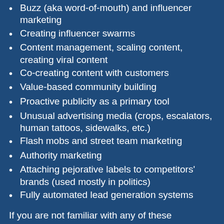Buzz (aka word-of-mouth) and influencer marketing
Creating influencer swarms
Content management, scaling content, creating viral content
Co-creating content with customers
Value-based community building
Proactive publicity as a primary tool
Unusual advertising media (crops, escalators, human tattoos, sidewalks, etc.)
Flash mobs and street team marketing
Authority marketing
Attaching pejorative labels to competitors' brands (used mostly in politics)
Fully automated lead generation systems
If you are not familiar with any of these approaches, I would suggest that you look them up and become familiar with them. And I would be happy to hear from you if you think I